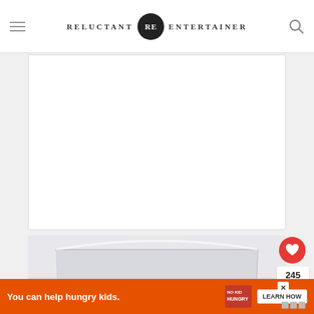RELUCTANT RE ENTERTAINER
[Figure (photo): Advertisement placeholder block (white rectangle)]
[Figure (photo): A large glass trifle bowl filled with layered chocolate cake, chocolate pudding, whipped cream, and cherries on a light background]
245
WHAT'S NEXT → Black and White Cherr...
You can help hungry kids. NO KID HUNGRY LEARN HOW